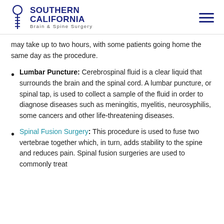Southern California Brain & Spine Surgery
may take up to two hours, with some patients going home the same day as the procedure.
Lumbar Puncture: Cerebrospinal fluid is a clear liquid that surrounds the brain and the spinal cord. A lumbar puncture, or spinal tap, is used to collect a sample of the fluid in order to diagnose diseases such as meningitis, myelitis, neurosyphilis, some cancers and other life-threatening diseases.
Spinal Fusion Surgery: This procedure is used to fuse two vertebrae together which, in turn, adds stability to the spine and reduces pain. Spinal fusion surgeries are used to commonly treat